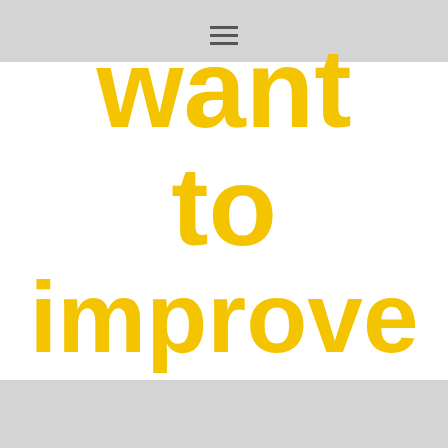≡
want to improve your practice?